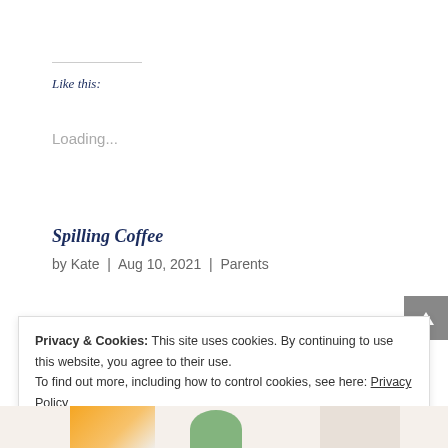Like this:
Loading...
Spilling Coffee
by Kate | Aug 10, 2021 | Parents
Privacy & Cookies: This site uses cookies. By continuing to use this website, you agree to their use.
To find out more, including how to control cookies, see here: Privacy Policy
Close and accept